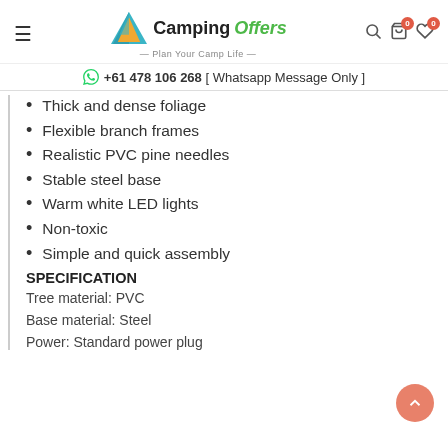Camping Offers — Plan Your Camp Life
+61 478 106 268 [ Whatsapp Message Only ]
Thick and dense foliage
Flexible branch frames
Realistic PVC pine needles
Stable steel base
Warm white LED lights
Non-toxic
Simple and quick assembly
SPECIFICATION
Tree material: PVC
Base material: Steel
Power: Standard power plug